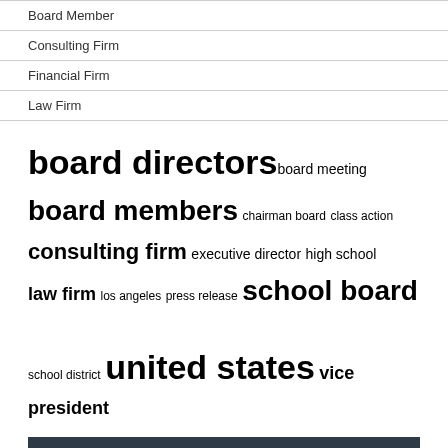Board Member
Consulting Firm
Financial Firm
Law Firm
board directors board meeting board members chairman board class action consulting firm executive director high school law firm los angeles press release school board school district united states vice president
RECENT POSTS